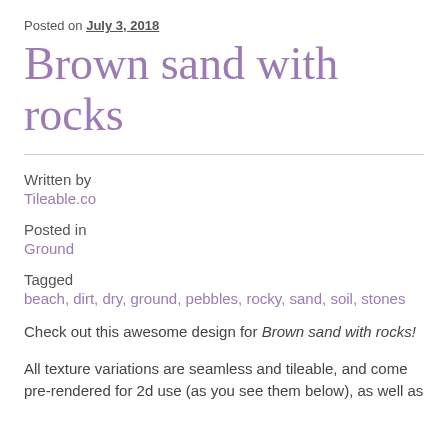Posted on July 3, 2018
Brown sand with rocks
Written by
Tileable.co
Posted in
Ground
Tagged
beach, dirt, dry, ground, pebbles, rocky, sand, soil, stones
Check out this awesome design for Brown sand with rocks!
All texture variations are seamless and tileable, and come pre-rendered for 2d use (as you see them below), as well as